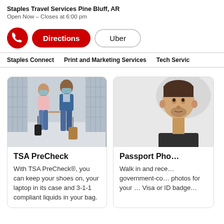Staples Travel Services Pine Bluff, AR
Open Now – Closes at 6:00 pm
Directions | Uber
Staples Connect   Print and Marketing Services   Tech Service
[Figure (photo): Two travelers wearing face masks walking through an airport terminal pulling luggage suitcases.]
TSA PreCheck
With TSA PreCheck®, you can keep your shoes on, your laptop in its case and 3-1-1 compliant liquids in your bag.
[Figure (photo): Passport photo of a man in a dark shirt, shown from shoulder up against a white background with a light gray cloud/shadow shape behind him.]
Passport Pho…
Walk in and rece… government-co… photos for your … Visa or ID badge…